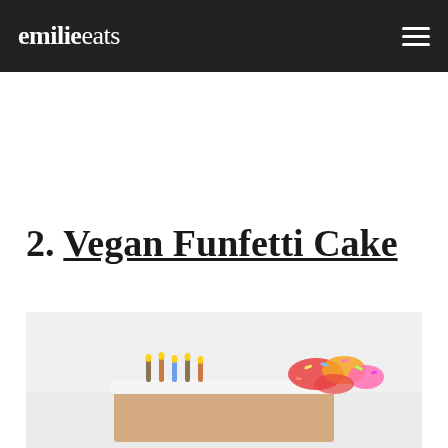emilie eats
2. Vegan Funfetti Cake
[Figure (photo): Photo of a vegan funfetti cake with candles and colorful frosting/sprinkles, partially visible at the bottom of the page]